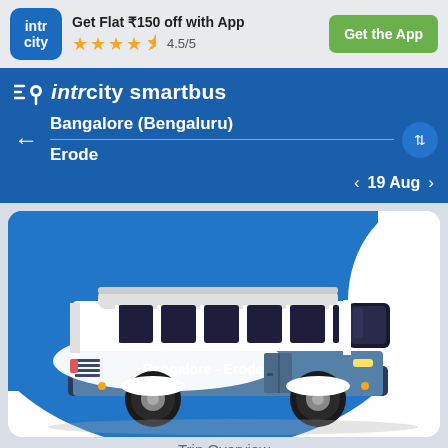Get Flat ₹150 off with App | 4.5/5 | Get the App
intrcity smartbus
Bangalore (Bengaluru)
Erode
19 Aug
[Figure (illustration): Illustration of a blue and white bus with text 'Bangalore - Erode' on the side, on a blue background within a white card]
Trip Overview